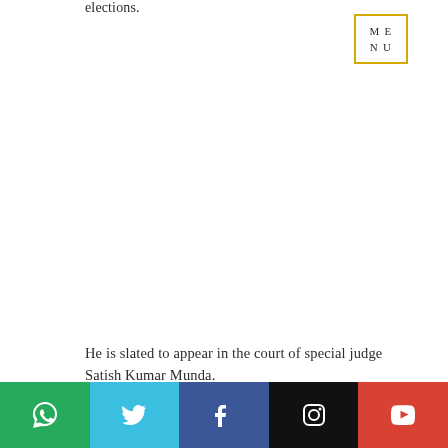elections.
[Figure (other): Yellow-bordered MENU box in top right area]
He is slated to appear in the court of special judge Satish Kumar Munda.
[Figure (other): Social media share bar with WhatsApp, Twitter, Facebook, Instagram, YouTube icons]